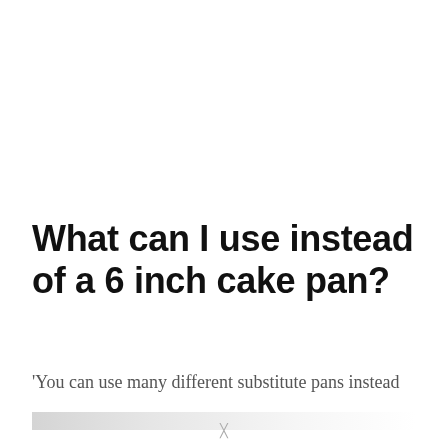What can I use instead of a 6 inch cake pan?
'You can use many different substitute pans instead of the 6 inch pan. The 6 inch cake pan will...